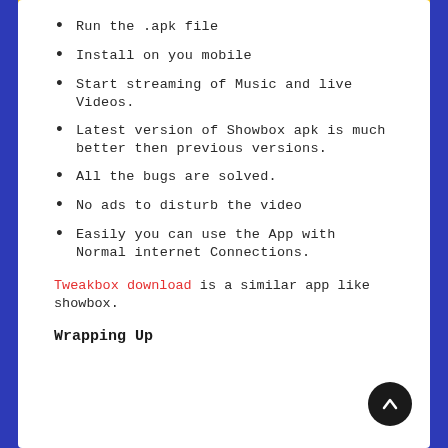Run the .apk file
Install on you mobile
Start streaming of Music and live Videos.
Latest version of Showbox apk is much better then previous versions.
All the bugs are solved.
No ads to disturb the video
Easily you can use the App with Normal internet Connections.
Tweakbox download is a similar app like showbox.
Wrapping Up